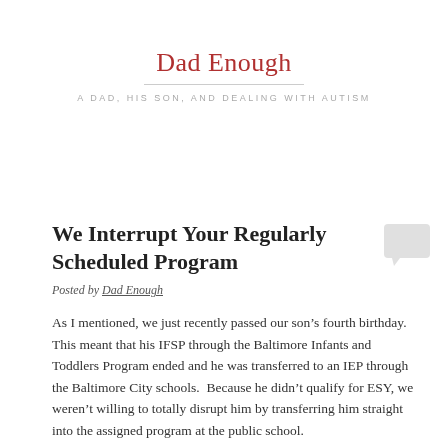Dad Enough
A DAD, HIS SON, AND DEALING WITH AUTISM
We Interrupt Your Regularly Scheduled Program
Posted by Dad Enough
As I mentioned, we just recently passed our son’s fourth birthday.  This meant that his IFSP through the Baltimore Infants and Toddlers Program ended and he was transferred to an IEP through the Baltimore City schools.  Because he didn’t qualify for ESY, we weren’t willing to totally disrupt him by transferring him straight into the assigned program at the public school.